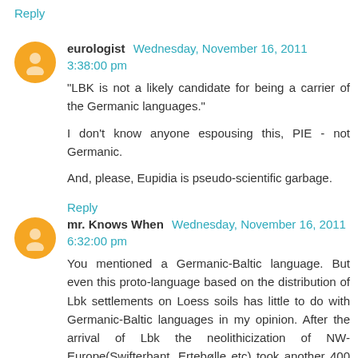Reply
eurologist Wednesday, November 16, 2011 3:38:00 pm
"LBK is not a likely candidate for being a carrier of the Germanic languages."

I don't know anyone espousing this, PIE - not Germanic.

And, please, Eupidia is pseudo-scientific garbage.
Reply
mr. Knows When Wednesday, November 16, 2011 6:32:00 pm
You mentioned a Germanic-Baltic language. But even this proto-language based on the distribution of Lbk settlements on Loess soils has little to do with Germanic-Baltic languages in my opinion. After the arrival of Lbk the neolithicization of NW-Europe(Swifterbant, Ertebølle etc) took another 400 years before it became visible as being